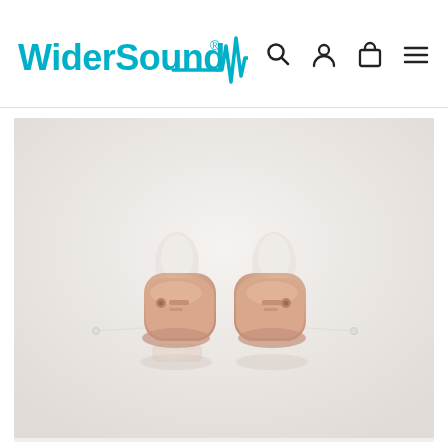WiderSound — navigation header with logo and icons
[Figure (photo): Two in-the-ear (ITE) hearing aids in beige/skin tone color with translucent silicone ear tips, photographed on a light grey/white background with reflections. The two devices face each other, one for left ear and one for right ear, each with a thin removal cord.]